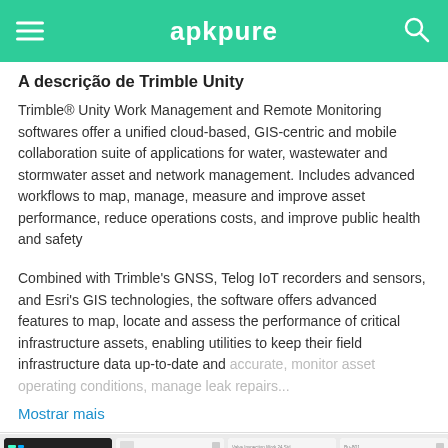apkpure
A descrição de Trimble Unity
Trimble® Unity Work Management and Remote Monitoring softwares offer a unified cloud-based, GIS-centric and mobile collaboration suite of applications for water, wastewater and stormwater asset and network management. Includes advanced workflows to map, manage, measure and improve asset performance, reduce operations costs, and improve public health and safety
Combined with Trimble's GNSS, Telog IoT recorders and sensors, and Esri's GIS technologies, the software offers advanced features to map, locate and assess the performance of critical infrastructure assets, enabling utilities to keep their field infrastructure data up-to-date and accurate, monitor asset operating conditions, manage leak repairs...
Mostrar mais
[Figure (screenshot): Four mobile app screenshots of Trimble Unity application showing various features including a home screen with icons, a work orders list, an asset detail screen for Bu-001 with EMERGENCY status, and an associated assets screen.]